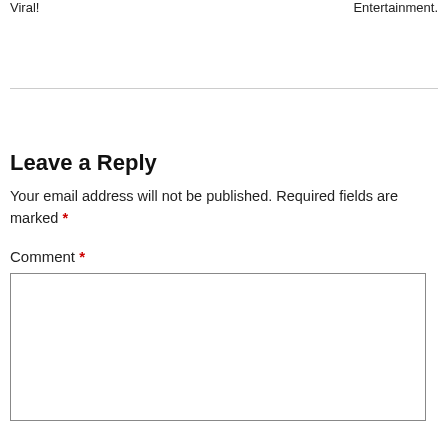Viral!
Entertainment.
Leave a Reply
Your email address will not be published. Required fields are marked *
Comment *